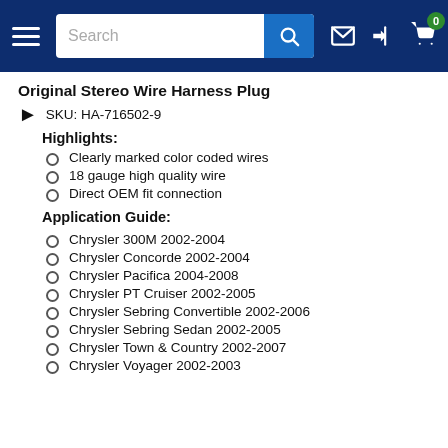Navigation bar with hamburger menu, search bar, and icons
Original Stereo Wire Harness Plug
SKU: HA-716502-9
Highlights:
Clearly marked color coded wires
18 gauge high quality wire
Direct OEM fit connection
Application Guide:
Chrysler 300M 2002-2004
Chrysler Concorde 2002-2004
Chrysler Pacifica 2004-2008
Chrysler PT Cruiser 2002-2005
Chrysler Sebring Convertible 2002-2006
Chrysler Sebring Sedan 2002-2005
Chrysler Town & Country 2002-2007
Chrysler Voyager 2002-2003